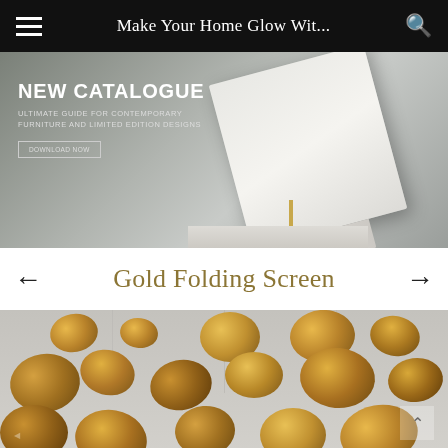Make Your Home Glow Wit...
[Figure (photo): Banner advertisement for a new furniture catalogue. Shows a white book/catalogue tilted on a white marble stand against a grey background. Text overlay reads 'NEW CATALOGUE - ULTIMATE GUIDE FOR CONTEMPORARY FURNITURE AND LIMITED EDITION DESIGNS' with a DOWNLOAD NOW button.]
Gold Folding Screen
[Figure (photo): Close-up photo of a gold folding screen sculpture made of large organic gold-leaf pebble/stone shapes arranged in rows, set against a light grey paneled wall background.]